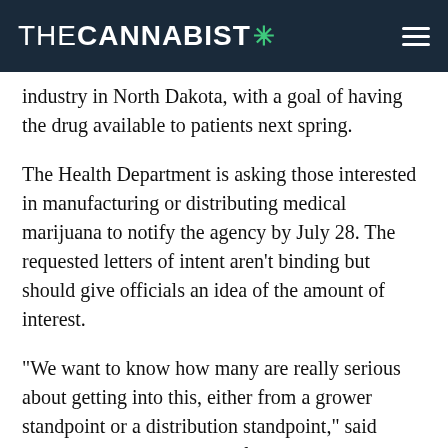THECANNABIST*
industry in North Dakota, with a goal of having the drug available to patients next spring.
The Health Department is asking those interested in manufacturing or distributing medical marijuana to notify the agency by July 28. The requested letters of intent aren’t binding but should give officials an idea of the amount of interest.
“We want to know how many are really serious about getting into this, either from a grower standpoint or a distribution standpoint,” said Kenan Bullinger, director of the department’s medical marijuana division.
North Dakota voters last November approved medical marijuana, and the Legislature earlier this year crafted regulations that Gov. Doug Burgum